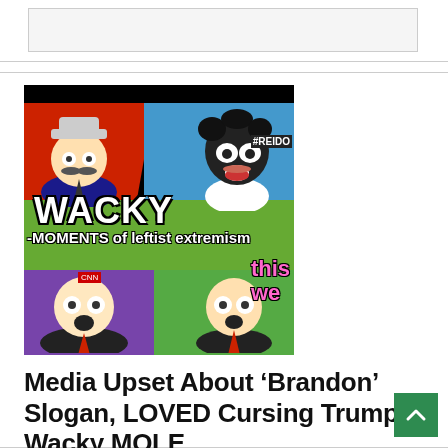[Figure (illustration): Comic-style collage image with cartoon caricatures of TV personalities over colored panels. Large text reads 'WACKY' and 'Moments of leftist extremism'. Logos visible: REIDO (top right), CNN (bottom left). Bottom right panel shows 'this we' text in pink.]
Media Upset About ‘Brandon’ Slogan, LOVED Cursing Trump – Wacky MOLE
Gary Bourgeault   business/finance